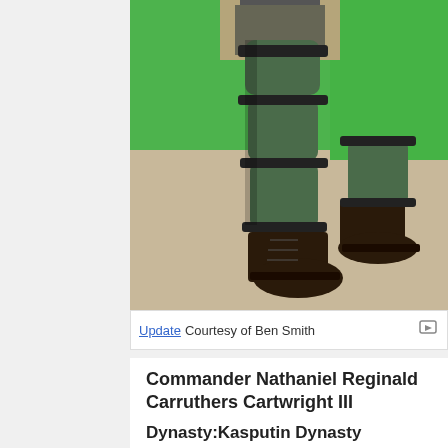[Figure (photo): Close-up photo of a person wearing green armored leg guards with black straps, dark boots, in front of a green screen background. Floor visible at bottom.]
Update Courtesy of Ben Smith
Commander Nathaniel Reginald Carruthers Cartwright III
Dynasty:Kasputin Dynasty